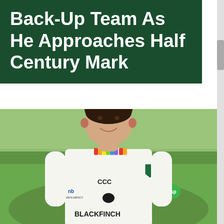Back-Up Team As He Approaches Half Century Mark
[Figure (photo): Young male cricket player smiling, wearing a white cricket kit with Worcestershire County Cricket Club badge, Canterbury brand logo, Blackfinch sponsor on chest and NB Insolvency sponsor on left sleeve. Background is a green cricket ground outfield. The player has short dark hair and appears in his late teens.]